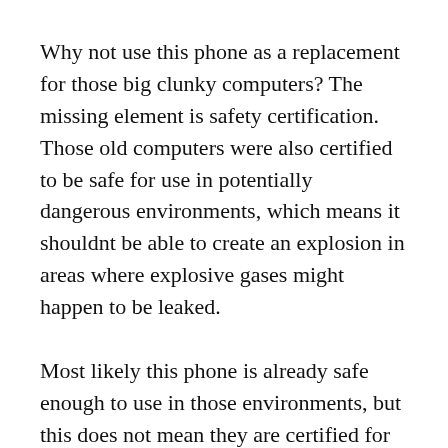Why not use this phone as a replacement for those big clunky computers? The missing element is safety certification. Those old computers were also certified to be safe for use in potentially dangerous environments, which means it shouldnt be able to create an explosion in areas where explosive gases might happen to be leaked.
Most likely this phone is already safe enough to use in those environments, but this does not mean they are certified for such use. The safety certs require the device be put through some pretty harsh testing to make sure that it is not capable of creating sparks etc. Once the